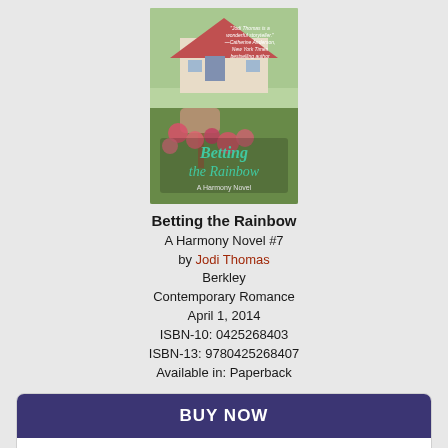[Figure (photo): Book cover of 'Betting the Rainbow' – A Harmony Novel, showing a rural mailbox with pink roses, a house in background, with script title text overlay.]
Betting the Rainbow
A Harmony Novel #7
by Jodi Thomas
Berkley
Contemporary Romance
April 1, 2014
ISBN-10: 0425268403
ISBN-13: 9780425268407
Available in: Paperback
[Figure (infographic): BUY NOW button (dark purple) above a white panel with four retailer logos: Amazon (orange circle), Barnes & Noble (green circle), BAM! Books-A-Million (blue circle), and an indie bookstore logo (red circle).]
*affiliate link
Betting the Rainbow